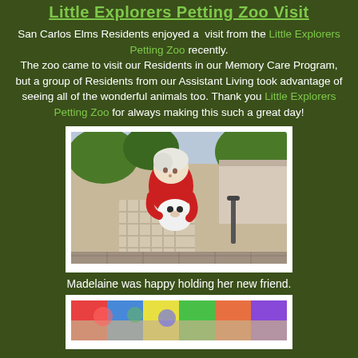Little Explorers Petting Zoo Visit
San Carlos Elms Residents enjoyed a visit from the Little Explorers Petting Zoo recently. The zoo came to visit our Residents in our Memory Care Program, but a group of Residents from our Assistant Living took advantage of seeing all of the wonderful animals too. Thank you Little Explorers Petting Zoo for always making this such a great day!
[Figure (photo): Elderly woman in red jacket sitting in a chair outdoors, holding and looking down at a small white animal (possibly a rabbit or small cat) in her lap. A wheelchair is visible in the background.]
Madelaine was happy holding her new friend.
[Figure (photo): Partial view of another photo showing a colorful scene, likely another resident interacting with animals from the petting zoo.]